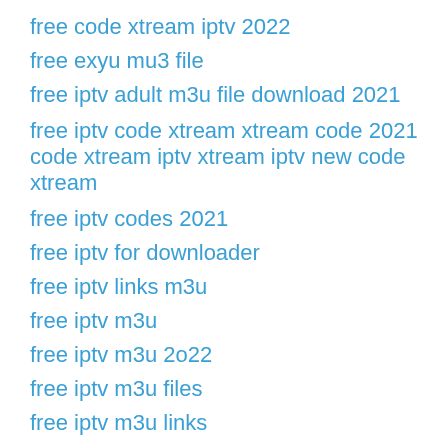free code xtream iptv 2022
free exyu mu3 file
free iptv adult m3u file download 2021
free iptv code xtream xtream code 2021 code xtream iptv xtream iptv new code xtream
free iptv codes 2021
free iptv for downloader
free iptv links m3u
free iptv m3u
free iptv m3u 2o22
free iptv m3u files
free iptv m3u links
free iptv m3u list download